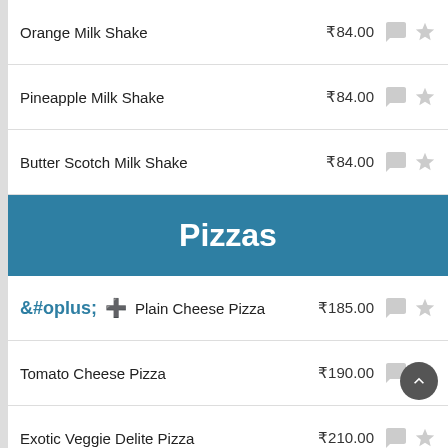Orange Milk Shake ₹84.00
Pineapple Milk Shake ₹84.00
Butter Scotch Milk Shake ₹84.00
Pizzas
Plain Cheese Pizza ₹185.00
Tomato Cheese Pizza ₹190.00
Exotic Veggie Delite Pizza ₹210.00
Pizza with your Choice of Topping ₹215.00
Quick Bite
French Fries ₹45.00